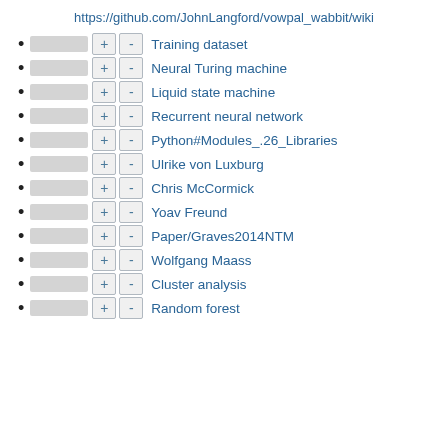https://github.com/JohnLangford/vowpal_wabbit/wiki
Training dataset
Neural Turing machine
Liquid state machine
Recurrent neural network
Python#Modules_.26_Libraries
Ulrike von Luxburg
Chris McCormick
Yoav Freund
Paper/Graves2014NTM
Wolfgang Maass
Cluster analysis
Random forest